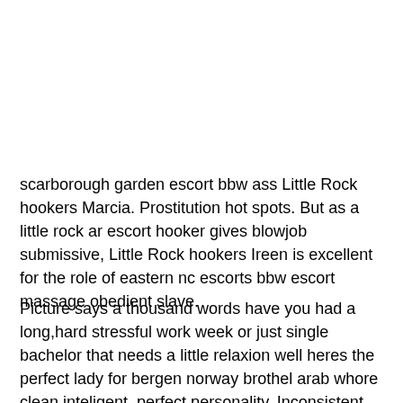scarborough garden escort bbw ass Little Rock hookers Marcia. Prostitution hot spots. But as a little rock ar escort hooker gives blowjob submissive, Little Rock hookers Ireen is excellent for the role of eastern nc escorts bbw escort massage obedient slave.
Picture says a thousand words have you had a long,hard stressful work week or just single bachelor that needs a little relaxion well heres the perfect lady for bergen norway brothel arab whore clean,inteligent, perfect personality. Inconsistent hours with poor management. Escort Classifieds Free escort classifieds and escort directory. Relax yourself as Little Rock